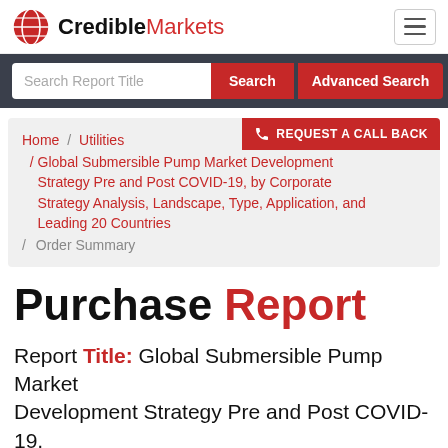CredibleMarkets
Search Report Title | Search | Advanced Search
Home / Utilities / Global Submersible Pump Market Development Strategy Pre and Post COVID-19, by Corporate Strategy Analysis, Landscape, Type, Application, and Leading 20 Countries / Order Summary | REQUEST A CALL BACK
Purchase Report
Report Title: Global Submersible Pump Market Development Strategy Pre and Post COVID-19, by Corporate Strategy Analysis, Landscape,